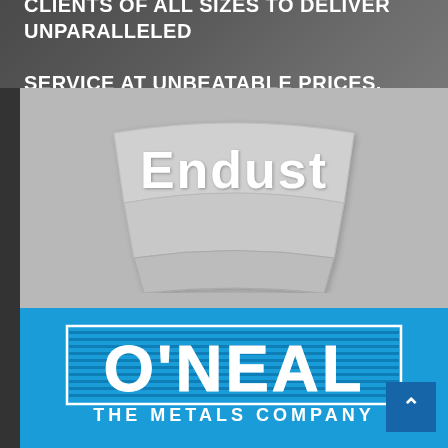CLIENTS OF ALL SIZES TO DELIVER UNPARALLELED SERVICE AT UNBEATABLE PRICES.
[Figure (logo): Endust brand logo - white/light grey stylized text on grey background]
[Figure (logo): O'Neal The Metals Company logo - white text/graphic on blue background]